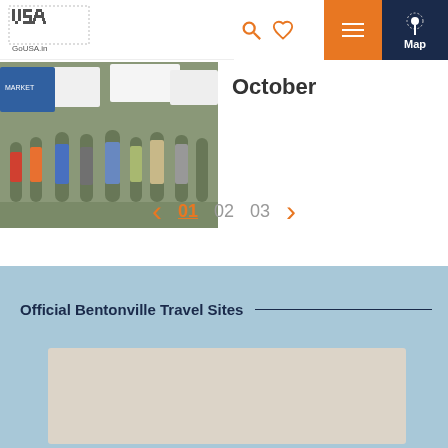GoUSA.in - Events - Gardens On T... - October
[Figure (photo): GoUSA.in logo banner image at top]
[Figure (photo): Outdoor market scene with people browsing under white tents]
October
01  02  03
Official Bentonville Travel Sites
[Figure (photo): White card/image placeholder in light blue footer section]